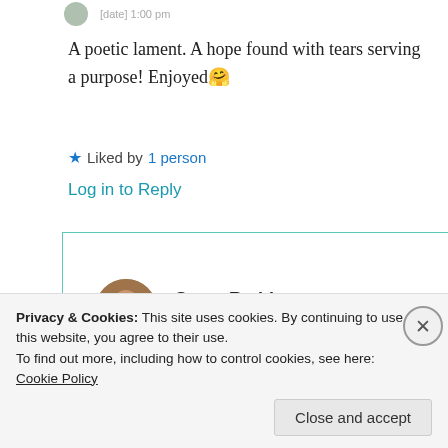[avatar] [date/time truncated]
A poetic lament. A hope found with tears serving a purpose! Enjoyed 🤗
★ Liked by 1 person
Log in to Reply
Suma Reddy
19th Jul 2021 at 6:50 pm
Privacy & Cookies: This site uses cookies. By continuing to use this website, you agree to their use. To find out more, including how to control cookies, see here: Cookie Policy
Close and accept